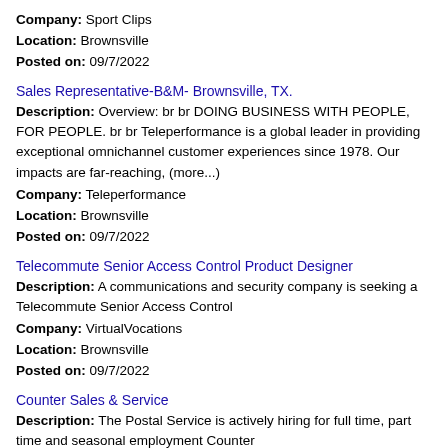Company: Sport Clips
Location: Brownsville
Posted on: 09/7/2022
Sales Representative-B&M- Brownsville, TX.
Description: Overview: br br DOING BUSINESS WITH PEOPLE, FOR PEOPLE. br br Teleperformance is a global leader in providing exceptional omnichannel customer experiences since 1978. Our impacts are far-reaching, (more...)
Company: Teleperformance
Location: Brownsville
Posted on: 09/7/2022
Telecommute Senior Access Control Product Designer
Description: A communications and security company is seeking a Telecommute Senior Access Control
Company: VirtualVocations
Location: Brownsville
Posted on: 09/7/2022
Counter Sales & Service
Description: The Postal Service is actively hiring for full time, part time and seasonal employment Counter
Company: US Postal Service